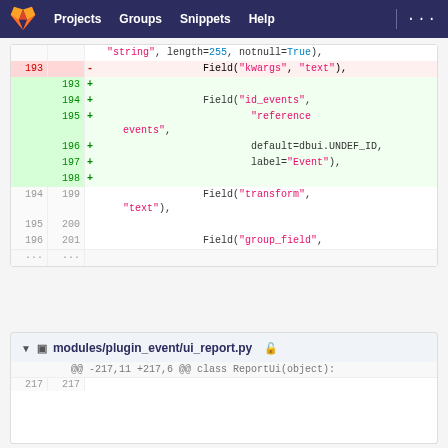Projects  Groups  Snippets  Help  ...
[Figure (screenshot): GitLab diff view showing code changes with removed line 193 (Field kwargs text) and added lines 193-198 (Field id_events reference events default=dbui.UNDEF_ID label=Event), plus context lines 194/199 Field transform text, 195/200 empty, 196/201 Field group_field]
modules/plugin_event/ui_report.py
@@ -217,11 +217,6 @@ class ReportUi(object):